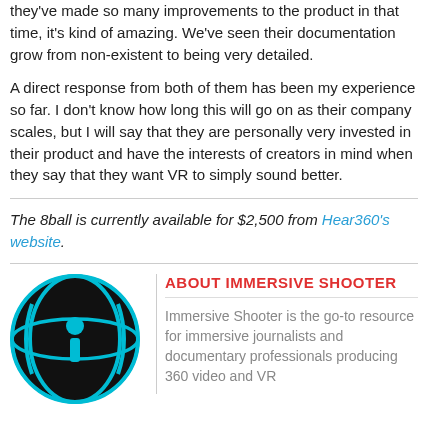they've made so many improvements to the product in that time, it's kind of amazing. We've seen their documentation grow from non-existent to being very detailed.
A direct response from both of them has been my experience so far. I don't know how long this will go on as their company scales, but I will say that they are personally very invested in their product and have the interests of creators in mind when they say that they want VR to simply sound better.
The 8ball is currently available for $2,500 from Hear360's website.
ABOUT IMMERSIVE SHOOTER
[Figure (logo): Immersive Shooter logo: a black circle with a cyan/blue globe-like design and an 'i' symbol in the center]
Immersive Shooter is the go-to resource for immersive journalists and documentary professionals producing 360 video and VR